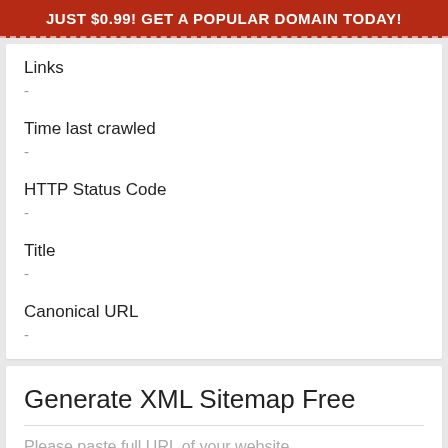JUST $0.99! GET A POPULAR DOMAIN TODAY!
Links
-
Time last crawled
-
HTTP Status Code
-
Title
-
Canonical URL
-
Generate XML Sitemap Free
Please paste full URL of your website